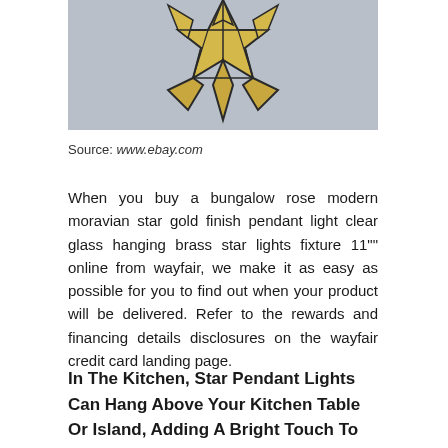[Figure (photo): A moravian star gold finish pendant light with clear glass panels, photographed against a gray background, showing the lower portion of the star-shaped fixture.]
Source: www.ebay.com
When you buy a bungalow rose modern moravian star gold finish pendant light clear glass hanging brass star lights fixture 11""' online from wayfair, we make it as easy as possible for you to find out when your product will be delivered. Refer to the rewards and financing details disclosures on the wayfair credit card landing page.
In The Kitchen, Star Pendant Lights Can Hang Above Your Kitchen Table Or Island, Adding A Bright Touch To These